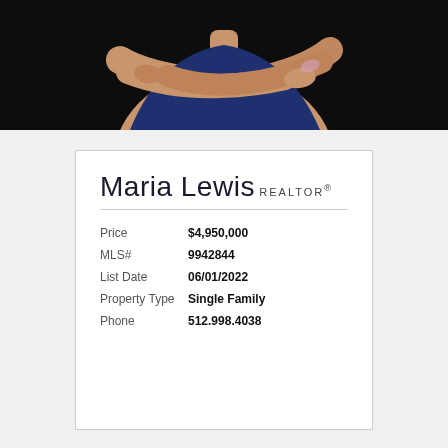[Figure (photo): Cropped photo of a person with arms crossed wearing a dark blue top, against a black background. Only the torso/arms are visible.]
Maria Lewis
REALTOR®
| Field | Value |
| --- | --- |
| Price | $4,950,000 |
| MLS# | 9942844 |
| List Date | 06/01/2022 |
| Property Type | Single Family |
| Phone | 512.998.4038 |